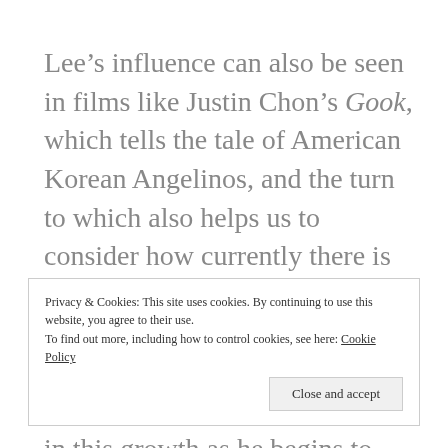Lee's influence can also be seen in films like Justin Chon's Gook, which tells the tale of American Korean Angelinos, and the turn to which also helps us to consider how currently there is equally a growing visibility of Asian Americans in contemporary cinema – with John Cho being a central figure in this growth as he begins to hold together films as varied as internet rescue film Searching and architecture essay-
Privacy & Cookies: This site uses cookies. By continuing to use this website, you agree to their use. To find out more, including how to control cookies, see here: Cookie Policy
Close and accept